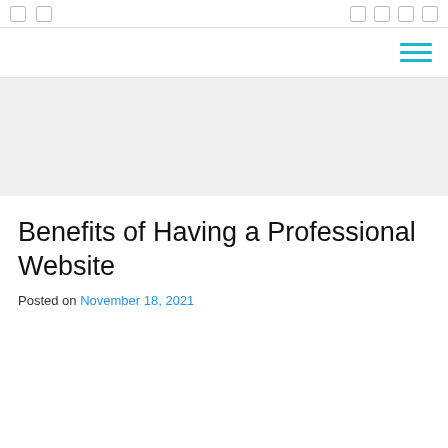[browser chrome top bar with navigation icons]
[Figure (other): Hamburger menu icon with three cyan horizontal lines, aligned to the right side of a navigation bar]
[Figure (other): Light grey hero/banner area placeholder below the navigation bar]
Benefits of Having a Professional Website
Posted on November 18, 2021